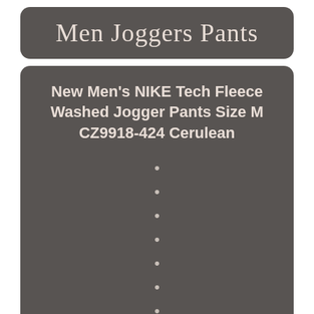Men Joggers Pants
New Men's NIKE Tech Fleece Washed Jogger Pants Size M CZ9918-424 Cerulean
•
•
•
•
•
•
•
•
•
•
24 / 7 / 365. We will get back to you as soon as I can.